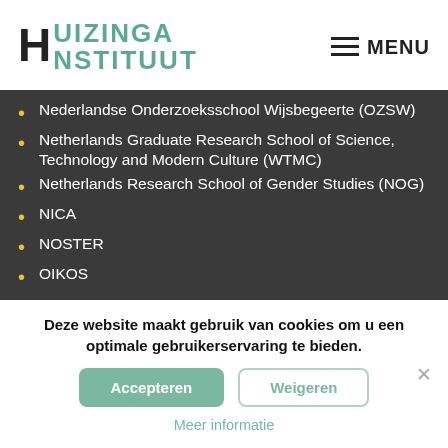HUIZINGA INSTITUUT
Nederlandse Onderzoeksschool Wijsbegeerte (OZSW)
Netherlands Graduate Research School of Science, Technology and Modern Culture (WTMC)
Netherlands Research School of Gender Studies (NOG)
NICA
NOSTER
OIKOS
Deze website maakt gebruik van cookies om u een optimale gebruikerservaring te bieden.
Accepteren  Weigeren  Meer informatie